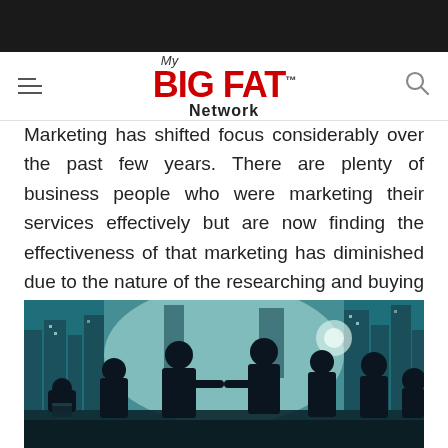[Figure (logo): My BIG FAT Network logo with hamburger menu and search icon]
Marketing has shifted focus considerably over the past few years. There are plenty of business people who were marketing their services effectively but are now finding the effectiveness of that marketing has diminished due to the nature of the researching and buying habits of modern customers.
[Figure (photo): Silhouettes of business people in a meeting room with a city skyline visible through large windows, two people shaking hands in the center]